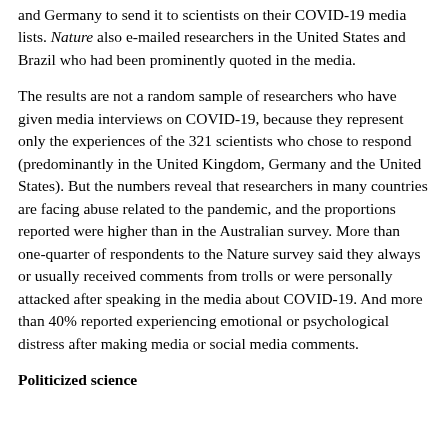and Germany to send it to scientists on their COVID-19 media lists. Nature also e-mailed researchers in the United States and Brazil who had been prominently quoted in the media.
The results are not a random sample of researchers who have given media interviews on COVID-19, because they represent only the experiences of the 321 scientists who chose to respond (predominantly in the United Kingdom, Germany and the United States). But the numbers reveal that researchers in many countries are facing abuse related to the pandemic, and the proportions reported were higher than in the Australian survey. More than one-quarter of respondents to the Nature survey said they always or usually received comments from trolls or were personally attacked after speaking in the media about COVID-19. And more than 40% reported experiencing emotional or psychological distress after making media or social media comments.
Politicized science